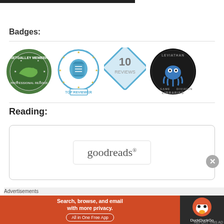[Figure (other): Dark top navigation bar partially visible at the top of the page]
Badges:
[Figure (other): Row of four badge logos: NetGalley Member Professional Reader (green circular badge), Top Reviewer (blue circular badge with stars), 10 Reviews (blue diamond shape), Leviathan Libraries (dark circular badge with octopus/squid illustration)]
Reading:
[Figure (logo): Goodreads logo in a rounded rectangle box]
Advertisements
[Figure (other): DuckDuckGo advertisement banner: orange section with text 'Search, browse, and email with more privacy. All in One Free App' and dark section with DuckDuckGo duck logo]